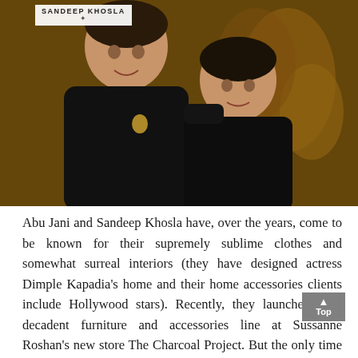[Figure (photo): Two men in black outfits posing together against a warm golden/amber background. The man on the left is taller and older, the man on the right is shorter. A small white logo box with 'SANDEEP KHOSLA' text is visible in the upper left of the photo.]
Abu Jani and Sandeep Khosla have, over the years, come to be known for their supremely sublime clothes and somewhat surreal interiors (they have designed actress Dimple Kapadia's home and their home accessories clients include Hollywood stars). Recently, they launched their decadent furniture and accessories line at Sussanne Roshan's new store The Charcoal Project. But the only time we've heard about